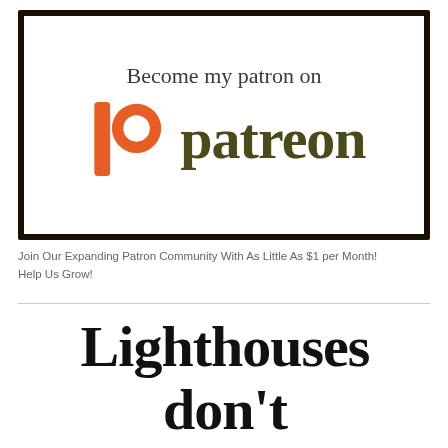[Figure (logo): Patreon promotional banner with Patreon logo (orange P icon and dark olive 'patreon' wordmark) and text 'Become my patron on patreon' inside a dark-bordered box]
Join Our Expanding Patron Community With As Little As $1 per Month!
Help Us Grow!
Lighthouses don't go running all over an island